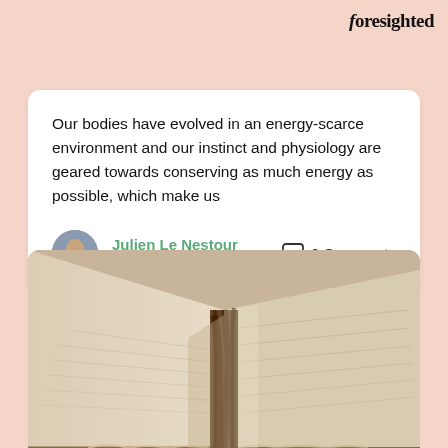Foresighted
Our bodies have evolved in an energy-scarce environment and our instinct and physiology are geared towards conserving as much energy as possible, which make us
Julien Le Nestour
June 11, 2021
0 Comments
[Figure (photo): Close-up photograph of an old open book with worn brown leather spine and aged yellowed pages, viewed from slightly above at an angle.]